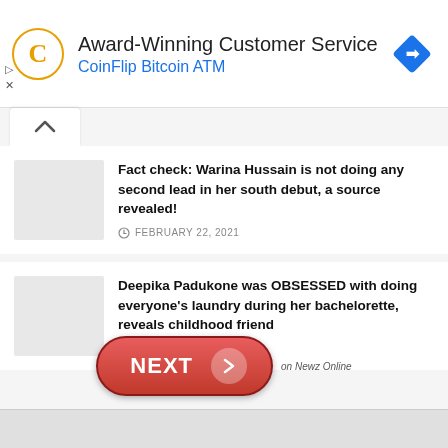[Figure (infographic): Ad banner: CoinFlip Bitcoin ATM with orange C logo and blue diamond arrow icon. Text: 'Award-Winning Customer Service' and 'CoinFlip Bitcoin ATM']
Fact check: Warina Hussain is not doing any second lead in her south debut, a source revealed!
FEBRUARY 22, 2021
Deepika Padukone was OBSESSED with doing everyone's laundry during her bachelorette, reveals childhood friend
FEBRUARY 10, 2021
[Figure (infographic): Red pill-shaped NEXT button with white arrow circle and 'on Newz Online' text beside it]